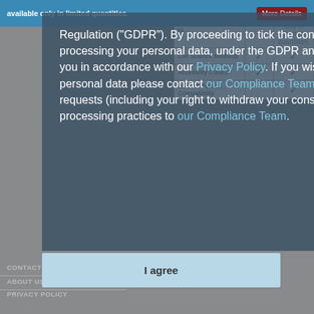| Feature | ✓ | ✓ |
| --- | --- | --- |
| Life Science Methods | ✓ | ✓ |
| Accessory Control | ✓ | ✓ |
| 21 CFR Part 11 Compatibility |  | ✓ |
Regulation ("GDPR"). By proceeding to tick the consent box at right, you consent to biochromspectros.com processing your personal data, under the GDPR and any other applicable legislation, that we collect from you in accordance with our Privacy Policy. If you wish to withdraw your consent for us to process your personal data please contact our Compliance Team. Please address any questions, comments and requests (including your right to withdraw your consent to process your personal data) regarding our data processing practices to our Compliance Team.
CONTACT US
ABOUT US
PRIVACY POLICY
I agree
© Biochrom, Ltd.